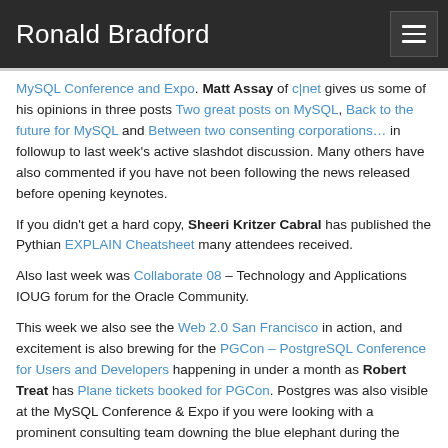Ronald Bradford
MySQL Conference and Expo. Matt Assay of c|net gives us some of his opinions in three posts Two great posts on MySQL, Back to the future for MySQL and Between two consenting corporations… in followup to last week's active slashdot discussion. Many others have also commented if you have not been following the news released before opening keynotes.
If you didn't get a hard copy, Sheeri Kritzer Cabral has published the Pythian EXPLAIN Cheatsheet many attendees received.
Also last week was Collaborate 08 – Technology and Applications IOUG forum for the Oracle Community.
This week we also see the Web 2.0 San Francisco in action, and excitement is also brewing for the PGCon – PostgreSQL Conference for Users and Developers happening in under a month as Robert Treat has Plane tickets booked for PGCon. Postgres was also visible at the MySQL Conference & Expo if you were looking with a prominent consulting team downing the blue elephant during the event. Wish I'd taken a photo now!